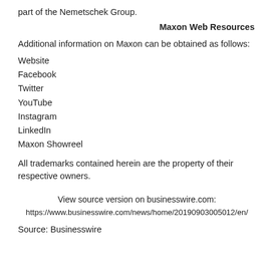part of the Nemetschek Group.
Maxon Web Resources
Additional information on Maxon can be obtained as follows:
Website
Facebook
Twitter
YouTube
Instagram
LinkedIn
Maxon Showreel
All trademarks contained herein are the property of their respective owners.
View source version on businesswire.com:
https://www.businesswire.com/news/home/20190903005012/en/
Source: Businesswire